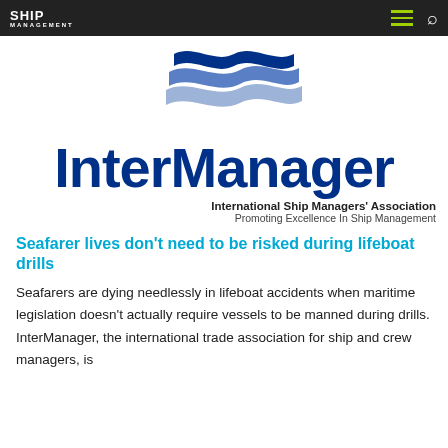SHIP MANAGEMENT
[Figure (logo): InterManager logo with three wavy horizontal stripes in blue tones (dark blue, medium blue, light blue/white)]
InterManager
International Ship Managers' Association
Promoting Excellence In Ship Management
Seafarer lives don't need to be risked during lifeboat drills
Seafarers are dying needlessly in lifeboat accidents when maritime legislation doesn't actually require vessels to be manned during drills. InterManager, the international trade association for ship and crew managers, is